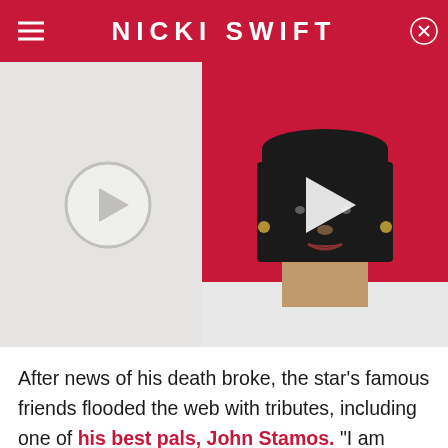NICKI SWIFT
[Figure (photo): Nicki Swift website screenshot showing a video thumbnail with a woman with a bob haircut on the right side, and a circular play button on the left side against a light gray background]
After news of his death broke, the star's famous friends flooded the web with tributes, including one of his best pals, John Stamos. "I am broken. I am gutted. I am in complete and utter shock. I will never ever have another friend like him. I love you so much Bobby," the actor tweeted. After his initial tweet, Stamos kept the tributes coming as he honored his late friend. On January 11, he shared a photo of himself and Saget, along with a